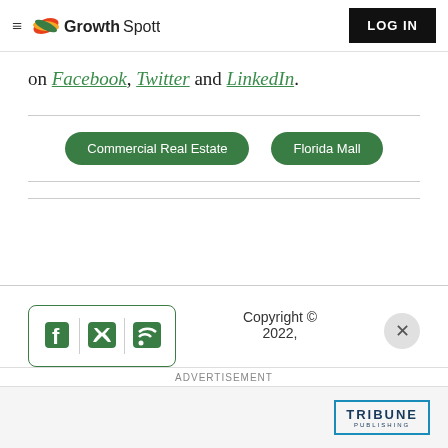GrowthSpotter — LOG IN
on Facebook, Twitter and LinkedIn.
Commercial Real Estate   Florida Mall
Copyright © 2022,
ADVERTISEMENT
[Figure (logo): Tribune Publishing logo]